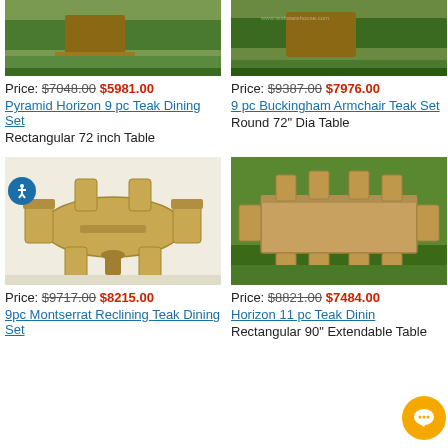[Figure (photo): Teak dining set on grass - top left, partial view]
Price: $7048.00 $5981.00
Pyramid Horizon 9 pc Teak Dining Set
Rectangular 72 inch Table
[Figure (photo): 9 pc Buckingham Armchair Teak Set on grass - top right, partial view]
Price: $9387.00 $7976.00
9 pc Buckingham Armchair Teak Set
Round 72" Dia Table
[Figure (photo): 9pc Montserrat Reclining Teak Dining Set on white background]
Price: $9717.00 $8215.00
9pc Montserrat Reclining Teak Dining Set
[Figure (photo): Horizon 11 pc Teak Dining Set on grass]
Price: $8821.00 $7484.00
Horizon 11 pc Teak Dining Set
Rectangular 90" Extendable Table